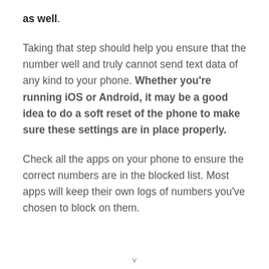as well.
Taking that step should help you ensure that the number well and truly cannot send text data of any kind to your phone. Whether you're running iOS or Android, it may be a good idea to do a soft reset of the phone to make sure these settings are in place properly.
Check all the apps on your phone to ensure the correct numbers are in the blocked list. Most apps will keep their own logs of numbers you've chosen to block on them.
v